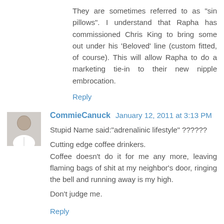They are sometimes referred to as "sin pillows". I understand that Rapha has commissioned Chris King to bring some out under his 'Beloved' line (custom fitted, of course). This will allow Rapha to do a marketing tie-in to their new nipple embrocation.
Reply
CommieCanuck January 12, 2011 at 3:13 PM
Stupid Name said:"adrenalinic lifestyle" ??????

Cutting edge coffee drinkers.
Coffee doesn't do it for me any more, leaving flaming bags of shit at my neighbor's door, ringing the bell and running away is my high.

Don't judge me.
Reply
Some pretentious dickhead January 12, 2011 at 3:18 PM